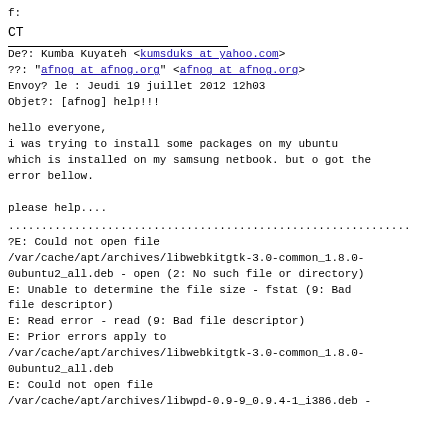f:
CT
De?: Kumba Kuyateh <kumsduks at yahoo.com>
??: "afnog at afnog.org" <afnog at afnog.org>
Envoy? le : Jeudi 19 juillet 2012 12h03
Objet?: [afnog] help!!!
hello everyone,
i was trying to install some packages on my ubuntu
which is installed on my samsung netbook. but o got the
error bellow.

please help....
.............................................................
?E: Could not open file
/var/cache/apt/archives/libwebkitgtk-3.0-common_1.8.0-
0ubuntu2_all.deb - open (2: No such file or directory)
E: Unable to determine the file size - fstat (9: Bad
file descriptor)
E: Read error - read (9: Bad file descriptor)
E: Prior errors apply to
/var/cache/apt/archives/libwebkitgtk-3.0-common_1.8.0-
0ubuntu2_all.deb
E: Could not open file
/var/cache/apt/archives/libwpd-0.9-9_0.9.4-1_i386.deb -